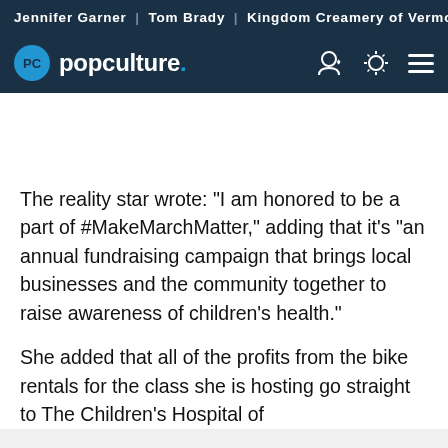Jennifer Garner | Tom Brady | Kingdom Creamery of Vermont
[Figure (logo): PopCulture.com logo with PC circle icon and navigation icons]
The reality star wrote: "I am honored to be a part of #MakeMarchMatter," adding that it's "an annual fundraising campaign that brings local businesses and the community together to raise awareness of children's health."
She added that all of the profits from the bike rentals for the class she is hosting go straight to The Children's Hospital of